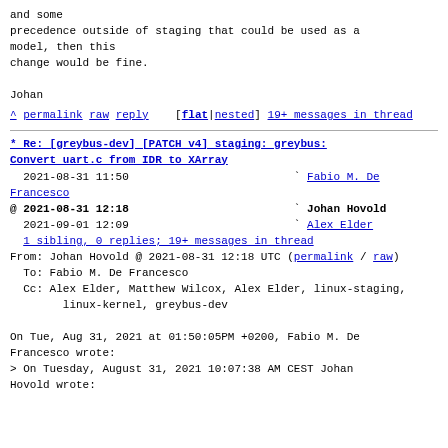and some
precedence outside of staging that could be used as a
model, then this
change would be fine.

Johan
^ permalink raw reply    [flat|nested] 19+ messages in
thread
* Re: [greybus-dev] [PATCH v4] staging: greybus:
Convert uart.c from IDR to XArray
2021-08-31 11:50                         ` Fabio M. De
Francesco
@ 2021-08-31 12:18                         ` Johan Hovold
  2021-09-01 12:09                         ` Alex Elder
  1 sibling, 0 replies; 19+ messages in thread
From: Johan Hovold @ 2021-08-31 12:18 UTC (permalink /
raw)
  To: Fabio M. De Francesco
  Cc: Alex Elder, Matthew Wilcox, Alex Elder, linux-
staging,
        linux-kernel, greybus-dev

On Tue, Aug 31, 2021 at 01:50:05PM +0200, Fabio M. De
Francesco wrote:
> On Tuesday, August 31, 2021 10:07:38 AM CEST Johan
Hovold wrote: